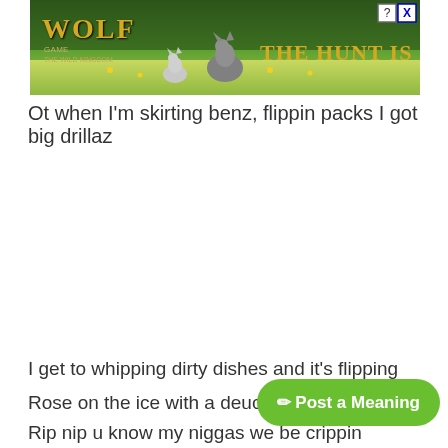[Figure (screenshot): Advertisement banner for 'Wolf Game: The Wild Kingdom' — shows wolves on a green meadow background with the text 'THE HUNT IS ON!' in gold serif font, with close and help buttons in top right corner.]
Ot when I'm skirting benz, flippin packs I got big drillaz
I get to whipping dirty dishes and it's flipping
Rose on the ice with a deuce I be s
Rip nip u know my niggas we be crippin
[Figure (screenshot): Green rounded button labeled 'Post a Meaning' with a pencil icon on the left.]